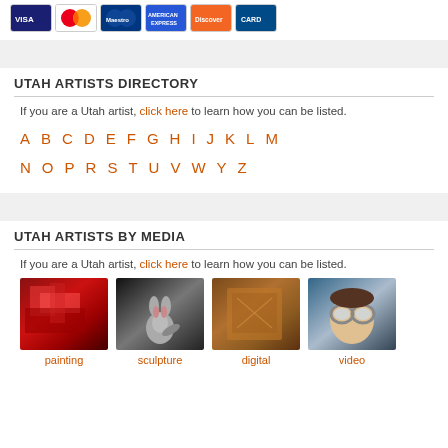[Figure (illustration): Credit card logos: Visa, Mastercard, Maestro, American Express, Discover, and another card]
UTAH ARTISTS DIRECTORY
If you are a Utah artist, click here to learn how you can be listed.
A B C D E F G H I J K L M N O P R S T U V W Y Z
UTAH ARTISTS BY MEDIA
If you are a Utah artist, click here to learn how you can be listed.
[Figure (photo): Thumbnail image of a colorful painting]
painting
[Figure (photo): Thumbnail image of a sculpture (rabbit figure)]
sculpture
[Figure (photo): Thumbnail image representing digital art]
digital
[Figure (photo): Thumbnail image of a person with goggles representing video]
video